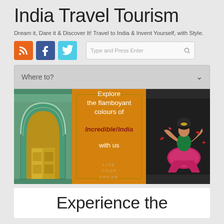India Travel Tourism
Dream it, Dare it & Discover It! Travel to India & Invent Yourself, with Style.
[Figure (screenshot): Three social media icons: RSS (orange), Facebook (dark blue), Twitter (light blue), followed by a search input box with placeholder 'Type and Press Enter' and a search icon.]
[Figure (screenshot): Destination selector bar with 'Where to?' placeholder text and a chevron/dropdown arrow on the right.]
[Figure (photo): Banner image composed of three panels: left panel shows an ornate teal/green Indian architectural arch with golden doors; center panel is an orange promotional box with decorative border reading 'Explore the flamboyant colours of Incredible!India with us LIVE YOUR DREAM'; right panel shows a woman in traditional Indian dance costume (pink and green) seated against a dark background with rose petals.]
Experience the